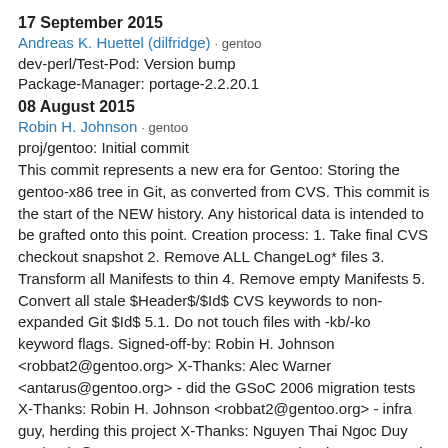17 September 2015
Andreas K. Huettel (dilfridge) · gentoo
dev-perl/Test-Pod: Version bump
Package-Manager: portage-2.2.20.1
08 August 2015
Robin H. Johnson · gentoo
proj/gentoo: Initial commit
This commit represents a new era for Gentoo: Storing the gentoo-x86 tree in Git, as converted from CVS. This commit is the start of the NEW history. Any historical data is intended to be grafted onto this point. Creation process: 1. Take final CVS checkout snapshot 2. Remove ALL ChangeLog* files 3. Transform all Manifests to thin 4. Remove empty Manifests 5. Convert all stale $Header$/$Id$ CVS keywords to non-expanded Git $Id$ 5.1. Do not touch files with -kb/-ko keyword flags. Signed-off-by: Robin H. Johnson <robbat2@gentoo.org> X-Thanks: Alec Warner <antarus@gentoo.org> - did the GSoC 2006 migration tests X-Thanks: Robin H. Johnson <robbat2@gentoo.org> - infra guy, herding this project X-Thanks: Nguyen Thai Ngoc Duy <pclouds@gentoo.org> - Former Gentoo developer, wrote Git features for the migration X-Thanks: Brian Harring <ferringb@gentoo.org> - wrote much python to improve cvs2svn